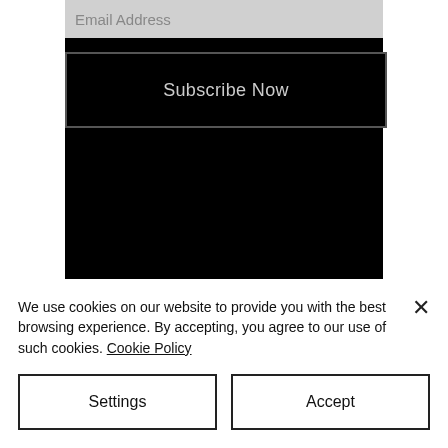Email Address
Subscribe Now
We use cookies on our website to provide you with the best browsing experience. By accepting, you agree to our use of such cookies. Cookie Policy
Settings
Accept